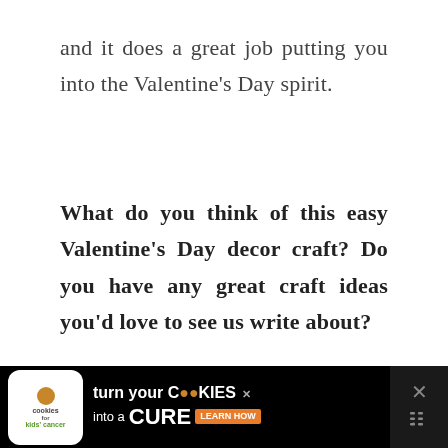and it does a great job putting you into the Valentine's Day spirit.
What do you think of this easy Valentine's Day decor craft? Do you have any great craft ideas you'd love to see us write about?
[Figure (screenshot): Ad banner: 'Cookies for Kids Cancer – turn your COOKIES into a CURE LEARN HOW' with a cookie logo on a black background.]